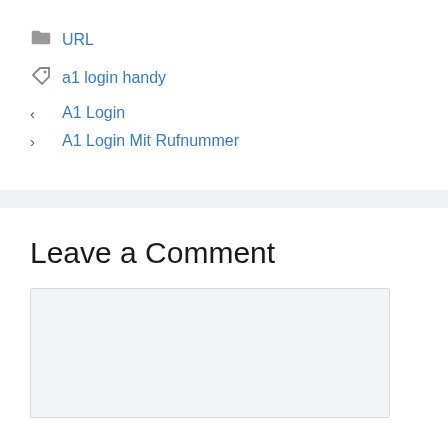URL
a1 login handy
A1 Login
A1 Login Mit Rufnummer
Leave a Comment